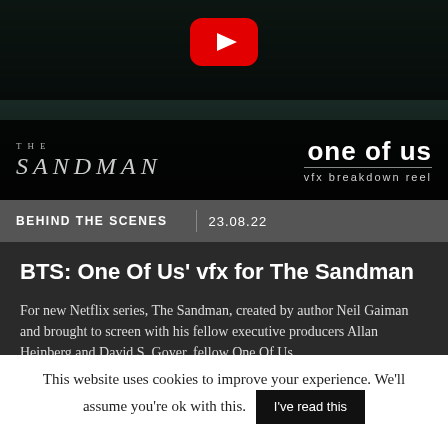[Figure (screenshot): Video thumbnail showing a dark scene with a YouTube play button overlay, The Sandman logo on the left and 'one of us / vfx breakdown reel' text on the right]
BEHIND THE SCENES  |  23.08.22
BTS: One Of Us' vfx for The Sandman
For new Netflix series, The Sandman, created by author Neil Gaiman and brought to screen with his fellow executive producers Allan Heinberg and David S. Goyer, fellow One Of Us...
This website uses cookies to improve your experience. We'll assume you're ok with this.  I've read this